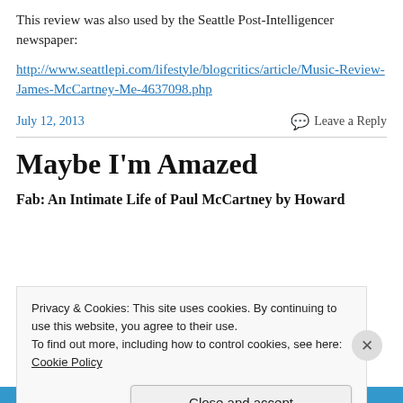This review was also used by the Seattle Post-Intelligencer newspaper:
http://www.seattlepi.com/lifestyle/blogcritics/article/Music-Review-James-McCartney-Me-4637098.php
July 12, 2013    Leave a Reply
Maybe I'm Amazed
Fab: An Intimate Life of Paul McCartney by Howard
Privacy & Cookies: This site uses cookies. By continuing to use this website, you agree to their use.
To find out more, including how to control cookies, see here: Cookie Policy
Close and accept